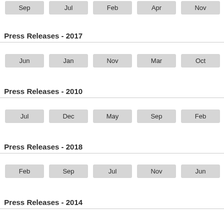Sep Jul Feb Apr Nov Jun
Press Releases - 2017
Jun Jan Nov Mar Oct Aug
Press Releases - 2010
Jul Dec May Sep Feb Apr
Press Releases - 2018
Feb Sep Jul Nov Jun Apr
Press Releases - 2014